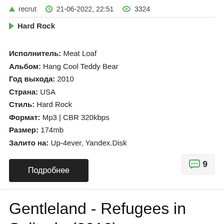recrut  21-06-2022, 22:51  3324
Hard Rock
Исполнитель: Meat Loaf
Альбом: Hang Cool Teddy Bear
Год выхода: 2010
Страна: USA
Стиль: Hard Rock
Формат: Mp3 | CBR 320kbps
Размер: 174mb
Залито на: Up-4ever, Yandex.Disk
Подробнее
9
Gentleland - Refugees in Solitude (2016)